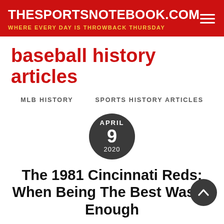THESPORTSNOTEBOOK.COM — WHERE EVERY DAY IS THROWBACK THURSDAY
baseball history articles
MLB HISTORY   SPORTS HISTORY ARTICLES
[Figure (other): Dark circular date badge showing APRIL 9 2020]
The 1981 Cincinnati Reds: When Being The Best Wasn't Enough
DAN FLAHERTY / MLB History Sports History Articles / 1981 Cincinnati Reds, 1981 MLB season, baseball history